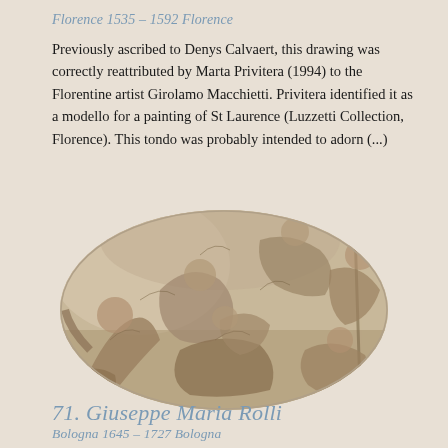Florence 1535 – 1592 Florence
Previously ascribed to Denys Calvaert, this drawing was correctly reattributed by Marta Privitera (1994) to the Florentine artist Girolamo Macchietti. Privitera identified it as a modello for a painting of St Laurence (Luzzetti Collection, Florence). This tondo was probably intended to adorn (...)
[Figure (illustration): Circular tondo drawing showing a complex scene with multiple figures in dynamic poses, rendered in brown and grey tones on a beige ground. The composition appears to depict a mythological or religious scene with figures tumbling and interacting in a cloud-filled setting.]
71. Giuseppe Maria Rolli
Bologna 1645 – 1727 Bologna